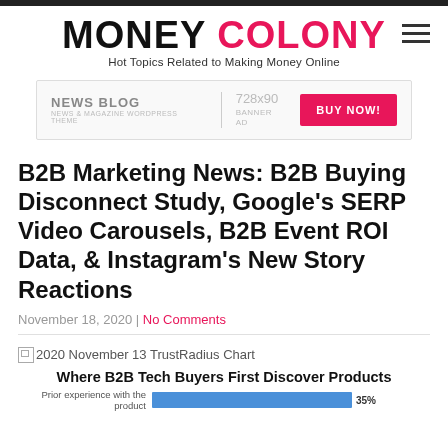MONEY COLONY — Hot Topics Related to Making Money Online
[Figure (other): Advertisement banner: NEWS BLOG 728x90 BUY NOW!]
B2B Marketing News: B2B Buying Disconnect Study, Google's SERP Video Carousels, B2B Event ROI Data, & Instagram's New Story Reactions
November 18, 2020 | No Comments
[Figure (other): 2020 November 13 TrustRadius Chart — Where B2B Tech Buyers First Discover Products. Bar: Prior experience with the product 35%]